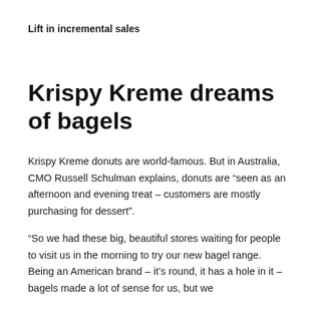Lift in incremental sales
Krispy Kreme dreams of bagels
Krispy Kreme donuts are world-famous. But in Australia, CMO Russell Schulman explains, donuts are “seen as an afternoon and evening treat – customers are mostly purchasing for dessert”.
“So we had these big, beautiful stores waiting for people to visit us in the morning to try our new bagel range. Being an American brand – it’s round, it has a hole in it – bagels made a lot of sense for us, but we